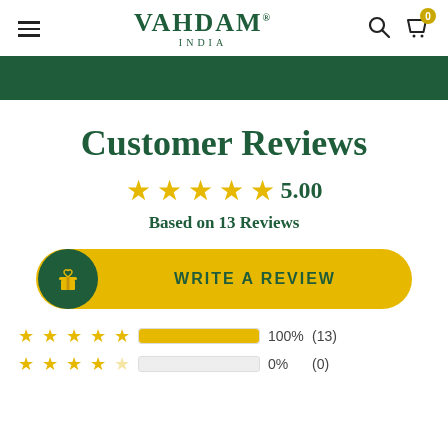VAHDAM® INDIA
Customer Reviews
5.00 — Based on 13 Reviews
WRITE A REVIEW
| Stars | Percent | Count |
| --- | --- | --- |
| 5 stars | 100% | (13) |
| 4 stars | 0% | (0) |